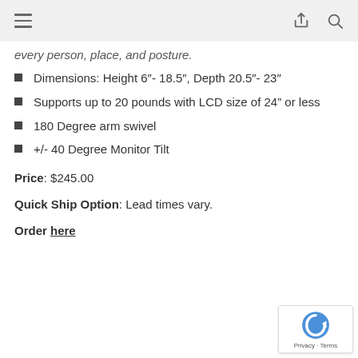[hamburger menu] [share icon] [search icon]
every person, place, and posture.
Dimensions: Height 6"- 18.5", Depth 20.5"- 23"
Supports up to 20 pounds with LCD size of 24" or less
180 Degree arm swivel
+/- 40 Degree Monitor Tilt
Price: $245.00
Quick Ship Option: Lead times vary.
Order here